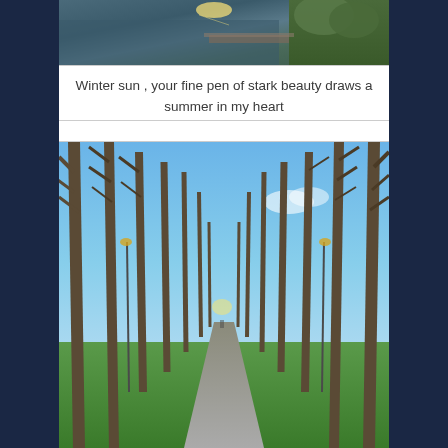[Figure (photo): Top portion of a photo showing a waterway or canal with sunlight reflecting on water, green vegetation on the right side]
Winter sun , your fine pen of stark beauty draws a summer in my heart
[Figure (photo): A tree-lined avenue or park path with tall bare deciduous trees on both sides, blue sky visible above, stretching into the distance]